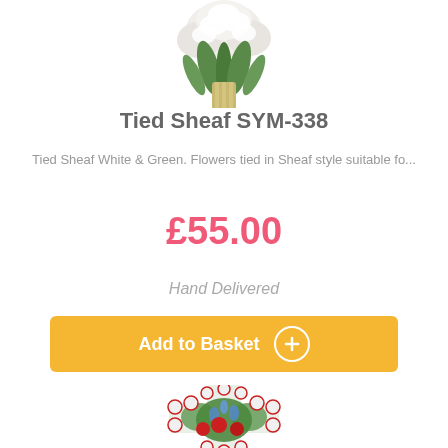[Figure (photo): White flower bouquet tied in sheaf style, photographed from above, partial crop at top of page]
Tied Sheaf SYM-338
Tied Sheaf White & Green. Flowers tied in Sheaf style suitable fo...
£55.00
Hand Delivered
Add to Basket
[Figure (photo): Floral cross arrangement with red roses, blue delphiniums, and white chrysanthemums with red trim border]